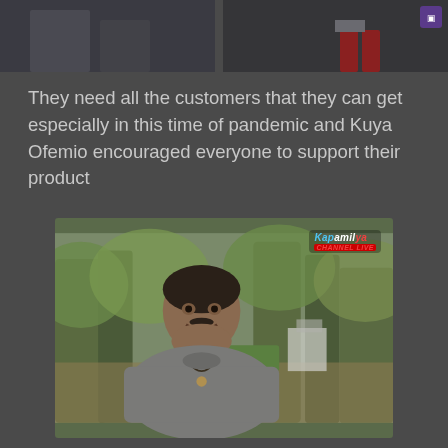[Figure (photo): Top portion of a video screenshot showing feet/lower body area of people, partially cropped, dark background with a small channel logo icon in top right]
They need all the customers that they can get especially in this time of pandemic and Kuya Ofemio encouraged everyone to support their product
[Figure (photo): Video screenshot showing a Filipino man in a gray shirt with a necklace, smiling, sitting outdoors with trees and greenery in the background. Kapamilya channel logo visible in top right corner of the video frame.]